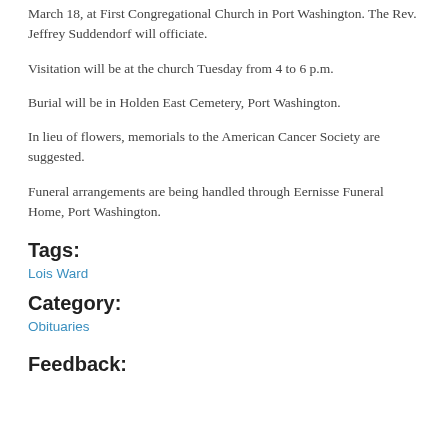March 18, at First Congregational Church in Port Washington. The Rev. Jeffrey Suddendorf will officiate.
Visitation will be at the church Tuesday from 4 to 6 p.m.
Burial will be in Holden East Cemetery, Port Washington.
In lieu of flowers, memorials to the American Cancer Society are suggested.
Funeral arrangements are being handled through Eernisse Funeral Home, Port Washington.
Tags:
Lois Ward
Category:
Obituaries
Feedback: